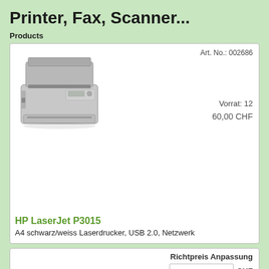Printer, Fax, Scanner...
Products
[Figure (photo): HP LaserJet P3015 laser printer, gray/black, front view]
Art. No.: 002686
Vorrat: 12
60,00 CHF
HP LaserJet P3015
A4 schwarz/weiss Laserdrucker, USB 2.0, Netzwerk
Richtpreis Anpassung
CHF
Wenn Sie dieses Produkt für Ihren privaten Gebrauch bestellen, können Sie hier den angegebenen Richtpreis nach oben oder unten abändern, Details dazu siehe AGB!